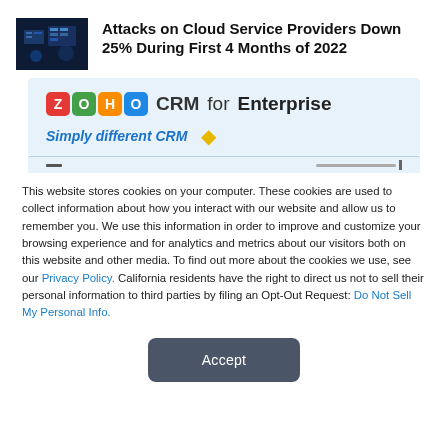[Figure (photo): Thumbnail image with dark blue background showing server/cloud imagery]
Attacks on Cloud Service Providers Down 25% During First 4 Months of 2022
[Figure (screenshot): Zoho CRM for Enterprise advertisement banner with tagline 'Simply different CRM' and a gold diamond icon on light blue background]
This website stores cookies on your computer. These cookies are used to collect information about how you interact with our website and allow us to remember you. We use this information in order to improve and customize your browsing experience and for analytics and metrics about our visitors both on this website and other media. To find out more about the cookies we use, see our Privacy Policy. California residents have the right to direct us not to sell their personal information to third parties by filing an Opt-Out Request: Do Not Sell My Personal Info.